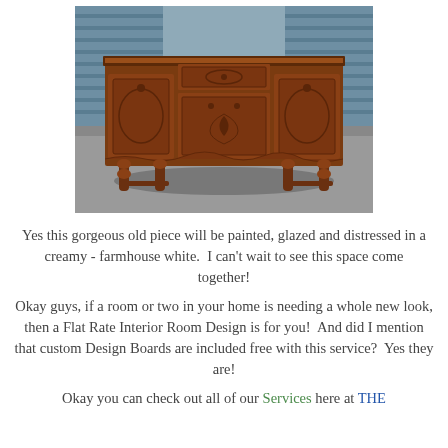[Figure (photo): Antique wooden sideboard/buffet with ornate carved panels and turned legs, photographed outdoors on pavement with blue siding in background.]
Yes this gorgeous old piece will be painted, glazed and distressed in a creamy - farmhouse white.  I can't wait to see this space come together!
Okay guys, if a room or two in your home is needing a whole new look, then a Flat Rate Interior Room Design is for you!  And did I mention that custom Design Boards are included free with this service?  Yes they are!
Okay you can check out all of our Services here at THE